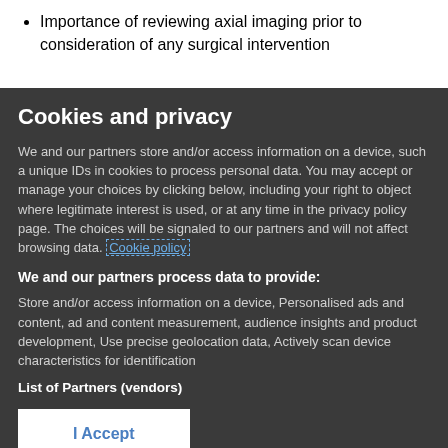Importance of reviewing axial imaging prior to consideration of any surgical intervention
Cookies and privacy
We and our partners store and/or access information on a device, such as unique IDs in cookies to process personal data. You may accept or manage your choices by clicking below, including your right to object where legitimate interest is used, or at any time in the privacy policy page. These choices will be signaled to our partners and will not affect browsing data. Cookie policy
We and our partners process data to provide:
Store and/or access information on a device, Personalised ads and content, ad and content measurement, audience insights and product development, Use precise geolocation data, Actively scan device characteristics for identification
List of Partners (vendors)
I Accept